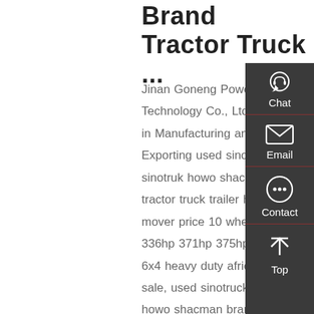Brand Tractor Truck ...
Jinan Goneng Power Technology Co., Ltd., Experts in Manufacturing and Exporting used sinotruck sinotruk howo shacman brand tractor truck trailer head prime mover price 10 wheel wheeler 336hp 371hp 375hp 420hp 6x4 heavy duty africa china for sale, used sinotruck sinotruk howo shacman brand dump tipper dumper truck price 10 wheel wheeler 336hp 371hp 375hp 30